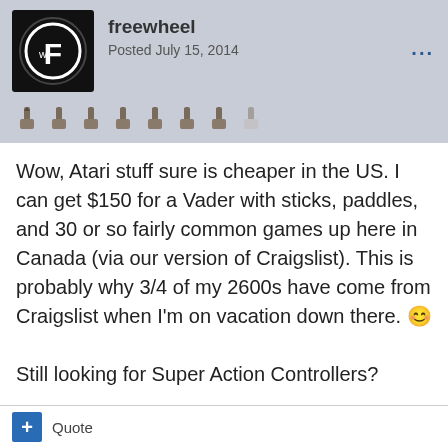freewheel — Posted July 15, 2014
Wow, Atari stuff sure is cheaper in the US. I can get $150 for a Vader with sticks, paddles, and 30 or so fairly common games up here in Canada (via our version of Craigslist). This is probably why 3/4 of my 2600s have come from Craigslist when I'm on vacation down there. 😊

Still looking for Super Action Controllers?
Quote
Crazy Climber — Posted July 15, 2014